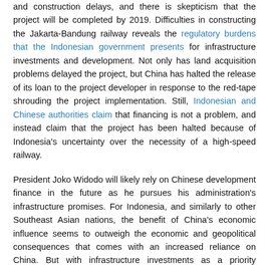and construction delays, and there is skepticism that the project will be completed by 2019. Difficulties in constructing the Jakarta-Bandung railway reveals the regulatory burdens that the Indonesian government presents for infrastructure investments and development. Not only has land acquisition problems delayed the project, but China has halted the release of its loan to the project developer in response to the red-tape shrouding the project implementation. Still, Indonesian and Chinese authorities claim that financing is not a problem, and instead claim that the project has been halted because of Indonesia's uncertainty over the necessity of a high-speed railway.
President Joko Widodo will likely rely on Chinese development finance in the future as he pursues his administration's infrastructure promises. For Indonesia, and similarly to other Southeast Asian nations, the benefit of China's economic influence seems to outweigh the economic and geopolitical consequences that comes with an increased reliance on China. But with infrastructure investments as a priority domestic policy, Indonesia needs to simultaneously pursue policy reform that will allow for timely and sustainable infrastructure development and not stall massive infrastructure projects.